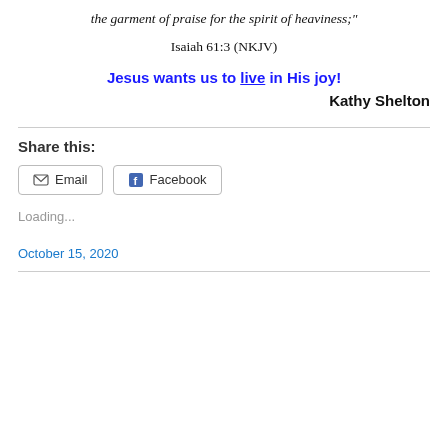the garment of praise for the spirit of heaviness;"
Isaiah 61:3 (NKJV)
Jesus wants us to live in His joy!
Kathy Shelton
Share this:
Email   Facebook
Loading...
October 15, 2020